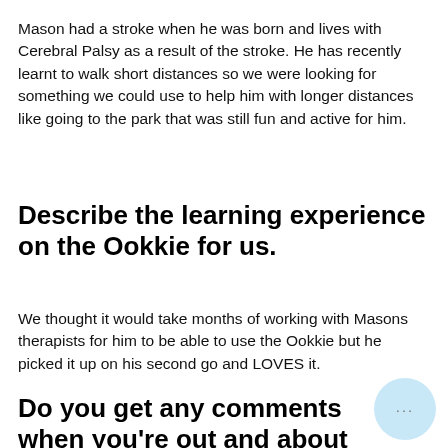Mason had a stroke when he was born and lives with Cerebral Palsy as a result of the stroke. He has recently learnt to walk short distances so we were looking for something we could use to help him with longer distances like going to the park that was still fun and active for him.
Describe the learning experience on the Ookkie for us.
We thought it would take months of working with Masons therapists for him to be able to use the Ookkie but he picked it up on his second go and LOVES it.
Do you get any comments when you're out and about riding the